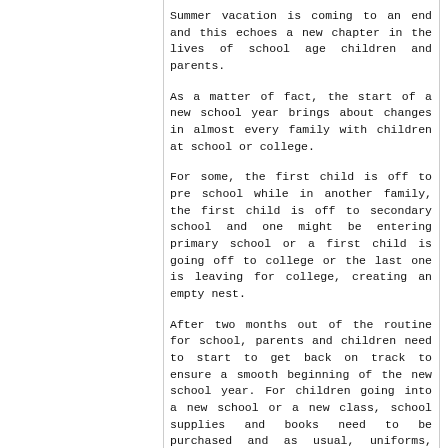Summer vacation is coming to an end and this echoes a new chapter in the lives of school age children and parents.
As a matter of fact, the start of a new school year brings about changes in almost every family with children at school or college.
For some, the first child is off to pre school while in another family, the first child is off to secondary school and one might be entering primary school or a first child is going off to college or the last one is leaving for college, creating an empty nest.
After two months out of the routine for school, parents and children need to start to get back on track to ensure a smooth beginning of the new school year. For children going into a new school or a new class, school supplies and books need to be purchased and as usual, uniforms, shoes and school bags all need to be bought or made.